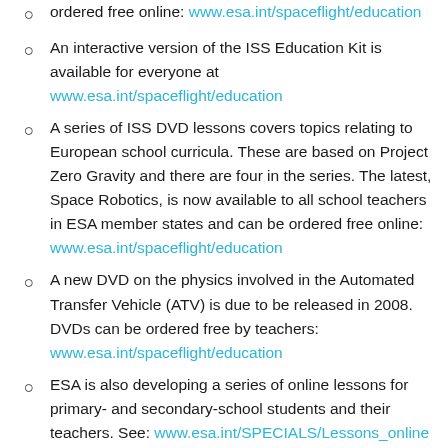ordered free online: www.esa.int/spaceflight/education (partial, top of page)
An interactive version of the ISS Education Kit is available for everyone at www.esa.int/spaceflight/education
A series of ISS DVD lessons covers topics relating to European school curricula. These are based on Project Zero Gravity and there are four in the series. The latest, Space Robotics, is now available to all school teachers in ESA member states and can be ordered free online: www.esa.int/spaceflight/education
A new DVD on the physics involved in the Automated Transfer Vehicle (ATV) is due to be released in 2008. DVDs can be ordered free by teachers: www.esa.int/spaceflight/education
ESA is also developing a series of online lessons for primary- and secondary-school students and their teachers. See: www.esa.int/SPECIALS/Lessons_online (partial, bottom of page)